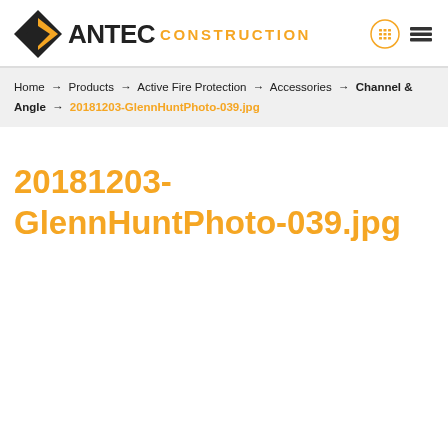ANTEC CONSTRUCTION
Home → Products → Active Fire Protection → Accessories → Channel & Angle → 20181203-GlennHuntPhoto-039.jpg
20181203-GlennHuntPhoto-039.jpg